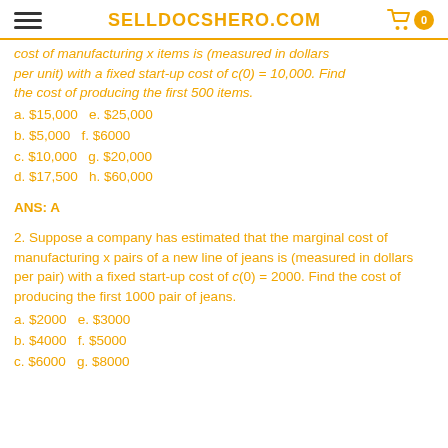SELLDOCSHERO.COM
cost of manufacturing x items is (measured in dollars per unit) with a fixed start-up cost of c(0) = 10,000. Find the cost of producing the first 500 items.
a. $15,000 e. $25,000
b. $5,000 f. $6000
c. $10,000 g. $20,000
d. $17,500 h. $60,000
ANS: A
2. Suppose a company has estimated that the marginal cost of manufacturing x pairs of a new line of jeans is (measured in dollars per pair) with a fixed start-up cost of c(0) = 2000. Find the cost of producing the first 1000 pair of jeans.
a. $2000 e. $3000
b. $4000 f. $5000
c. $6000 g. $8000